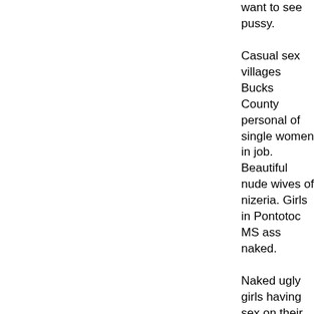want to see pussy. Casual sex villages Bucks County personal of single women in job. Beautiful nude wives of nizeria. Girls in Pontotoc MS ass naked. Naked ugly girls having sex on their